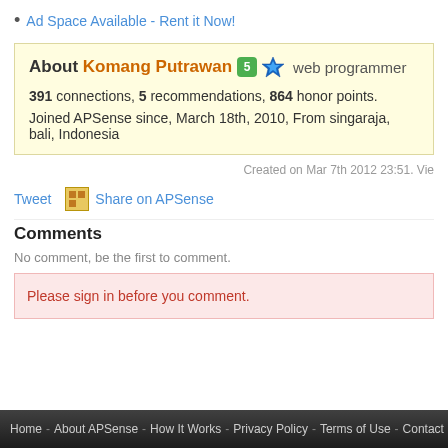Ad Space Available - Rent it Now!
About Komang Putrawan  web programmer
391 connections, 5 recommendations, 864 honor points.
Joined APSense since, March 18th, 2010, From singaraja, bali, Indonesia
Created on Mar 7th 2012 23:51. Vie
Tweet   Share on APSense
Comments
No comment, be the first to comment.
Please sign in before you comment.
Home - About APSense - How It Works - Privacy Policy - Terms of Use - Contact Us